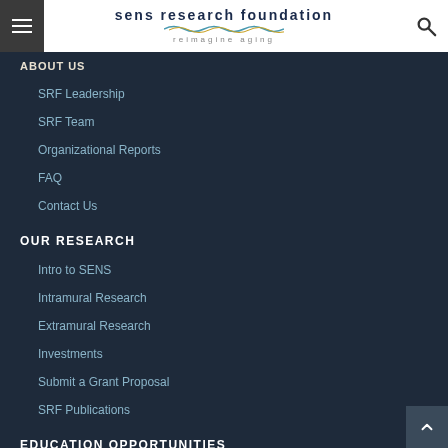sens research foundation reimagine aging
ABOUT US
SRF Leadership
SRF Team
Organizational Reports
FAQ
Contact Us
OUR RESEARCH
Intro to SENS
Intramural Research
Extramural Research
Investments
Submit a Grant Proposal
SRF Publications
EDUCATION OPPORTUNITIES
Research Integrated Science Education
Summer Scholars Program